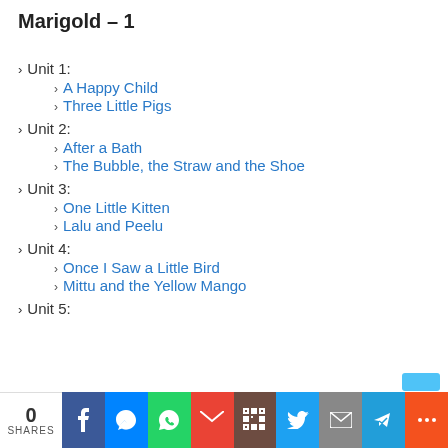Marigold – 1
Unit 1:
A Happy Child
Three Little Pigs
Unit 2:
After a Bath
The Bubble, the Straw and the Shoe
Unit 3:
One Little Kitten
Lalu and Peelu
Unit 4:
Once I Saw a Little Bird
Mittu and the Yellow Mango
Unit 5:
0 SHARES | Facebook | Messenger | WhatsApp | Gmail | QR | Twitter | Email | Telegram | More